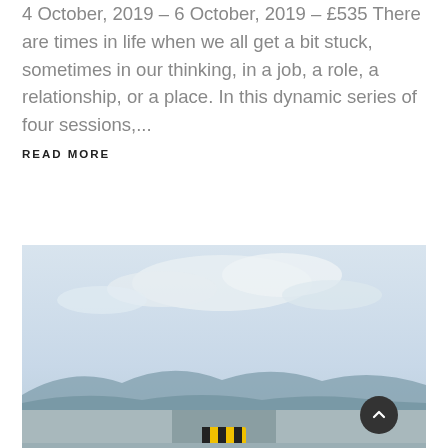4 October, 2019 – 6 October, 2019 – £535 There are times in life when we all get a bit stuck, sometimes in our thinking, in a job, a role, a relationship, or a place. In this dynamic series of four sessions,...
READ MORE
[Figure (photo): A road scene under a pale overcast sky with mountains in the distance and a yellow and black striped road sign visible at the bottom center of the image.]